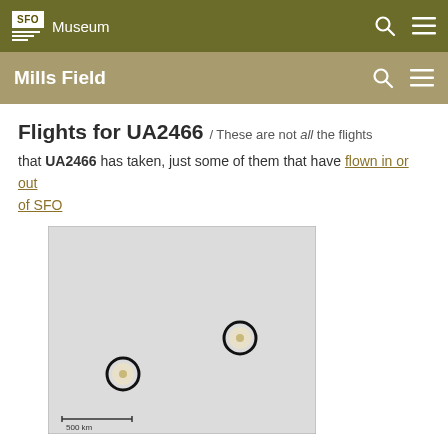SFO Museum
Mills Field
Flights for UA2466 / These are not all the flights that UA2466 has taken, just some of them that have flown in or out of SFO
[Figure (map): Map showing two circular markers representing airport locations connected by a flight route for UA2466, with a scale bar showing 500 km at the bottom left.]